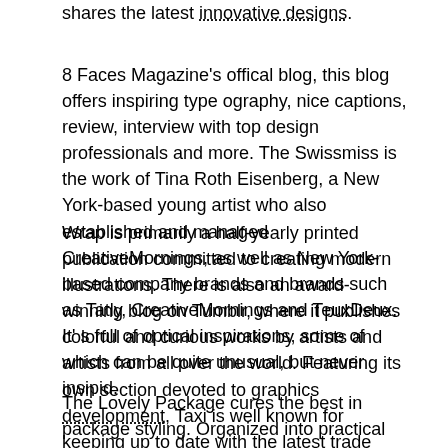shares the latest innovative designs.
8 Faces Magazine's offical blog, this blog offers inspiring type ography, nice captions, review, interview with top design professionals and more. The Swissmiss is the work of Tina Roth Eisenberg, a New York-based young artist who also established and managed CreativeMornings, as well as New York-based company brands and brands such as Tatly, CreativeMornings and TeuxDeux. It' s full of optical inspirations, some of which can be quite unusual, but never insipid.
Wrap is primarily a half-yearly printed publication committed to creating modern illustrations. There is also an award-winning blog on Tumblr, where it publishes colorful and curious works by artists and artists from all over the world. Featuring its own section devoted to graphics development, Taxi is well known for keeping up to date with the latest trade releases, latest developments and the latest information.
The Lovely Package cures the best in package styling. Organized into practical classifications such as alcohols, textbooks and electronic, it has been an important designer asset since its introduction in 2008. This is a nice blog and